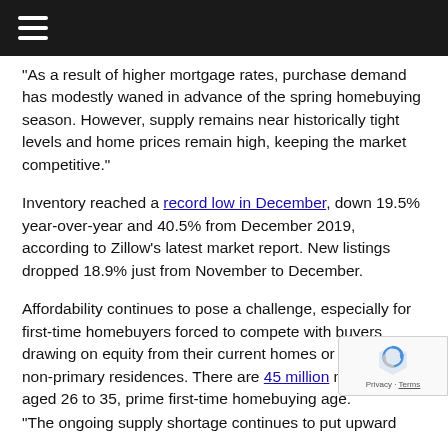≡
"As a result of higher mortgage rates, purchase demand has modestly waned in advance of the spring homebuying season. However, supply remains near historically tight levels and home prices remain high, keeping the market competitive."
Inventory reached a record low in December, down 19.5% year-over-year and 40.5% from December 2019, according to Zillow's latest market report. New listings dropped 18.9% just from November to December.
Affordability continues to pose a challenge, especially for first-time homebuyers forced to compete with buyers drawing on equity from their current homes or seeking non-primary residences. There are 45 million millennials aged 26 to 35, prime first-time homebuying age.
"The ongoing supply shortage continues to put upward